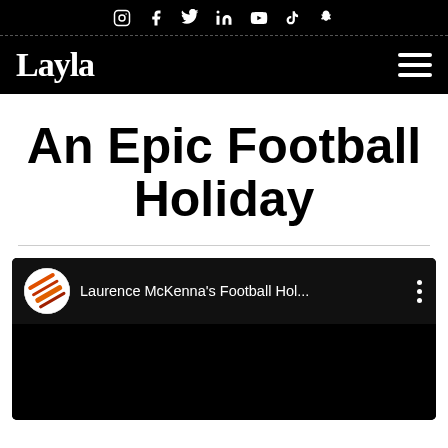Social media icons: Instagram, Facebook, Twitter, LinkedIn, YouTube, TikTok, Snapchat
Layla [logo] | hamburger menu
An Epic Football Holiday
[Figure (screenshot): YouTube video embed showing channel logo (orange and black striped circle) and title 'Laurence McKenna's Football Hol...' with three-dot menu icon on a black background]